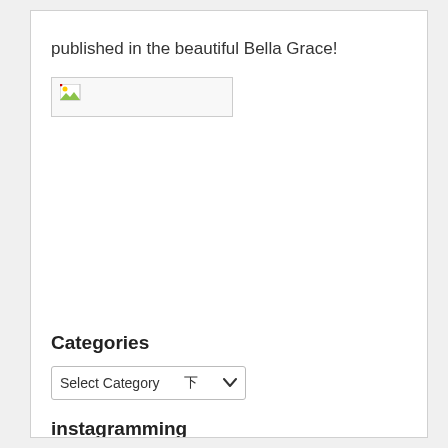published in the beautiful Bella Grace!
[Figure (photo): Broken image placeholder thumbnail]
Categories
[Figure (screenshot): Select Category dropdown widget]
instagramming
[Figure (infographic): Follow on Instagram button with Instagram icon]